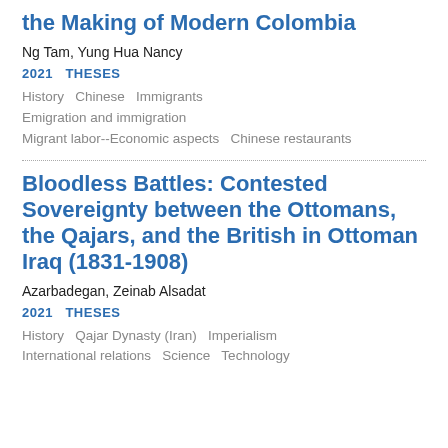the Making of Modern Colombia
Ng Tam, Yung Hua Nancy
2021  THESES
History  Chinese  Immigrants
Emigration and immigration
Migrant labor--Economic aspects  Chinese restaurants
Bloodless Battles: Contested Sovereignty between the Ottomans, the Qajars, and the British in Ottoman Iraq (1831-1908)
Azarbadegan, Zeinab Alsadat
2021  THESES
History  Qajar Dynasty (Iran)  Imperialism
International relations  Science  Technology